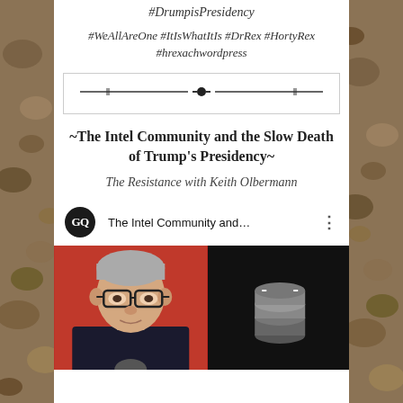#DrumpisPresidency
#WeAllAreOne #ItIsWhatItIs #DrRex #HortyRex #hrexachwordpress
[Figure (illustration): Decorative horizontal divider with a centered dot and horizontal lines inside a bordered rectangle]
~The Intel Community and the Slow Death of Trump's Presidency~
The Resistance with Keith Olbermann
[Figure (screenshot): YouTube video thumbnail showing GQ logo, title 'The Intel Community and...', and a man with grey hair and glasses against a red background on the left, and dark/black screen on the right with casino chips]